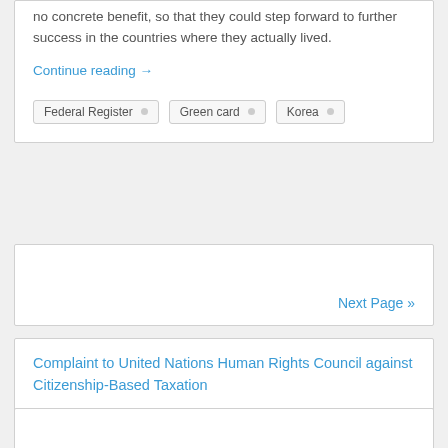no concrete benefit, so that they could step forward to further success in the countries where they actually lived.
Continue reading →
Federal Register
Green card
Korea
Next Page »
Complaint to United Nations Human Rights Council against Citizenship-Based Taxation